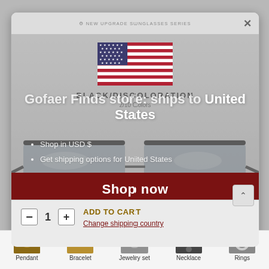[Figure (screenshot): E-commerce page screenshot showing a modal popup overlay on a product page. The modal shows a US flag with text 'Gofaer Finds store: ships to United States', bullet points about shipping in USD and getting shipping options, a dark red 'Shop now' button, and an 'ADD TO CART' / 'Change shipping country' bar. The background shows sunglasses product. Below the modal are navigation tabs: Pendant, Bracelet, Jewelry set, Necklace, Rings.]